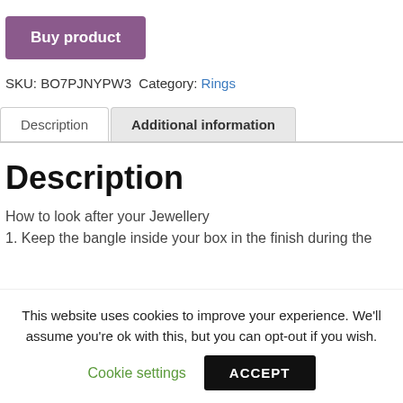Buy product
SKU: BO7PJNYPW3  Category: Rings
Description | Additional information (tabs)
Description
How to look after your Jewellery
1. Keep the bangle inside your box in the finish during the
This website uses cookies to improve your experience. We'll assume you're ok with this, but you can opt-out if you wish.
Cookie settings  ACCEPT